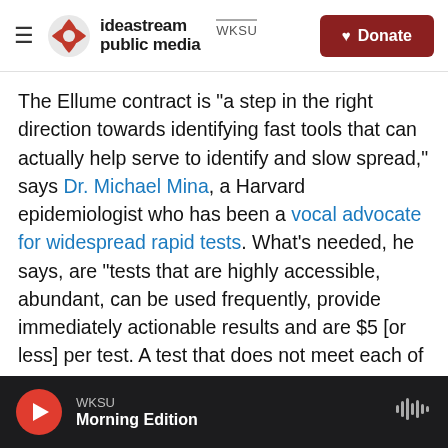ideastream public media WKSU | Donate
The Ellume contract is "a step in the right direction towards identifying fast tools that can actually help serve to identify and slow spread," says Dr. Michael Mina, a Harvard epidemiologist who has been a vocal advocate for widespread rapid tests. What's needed, he says, are "tests that are highly accessible, abundant, can be used frequently, provide immediately actionable results and are $5 [or less] per test. A test that does not meet each of these [criteria] will not perform well as a public health test to fight this pandemic."
Discussing the new agreement in a news
WKSU | Morning Edition